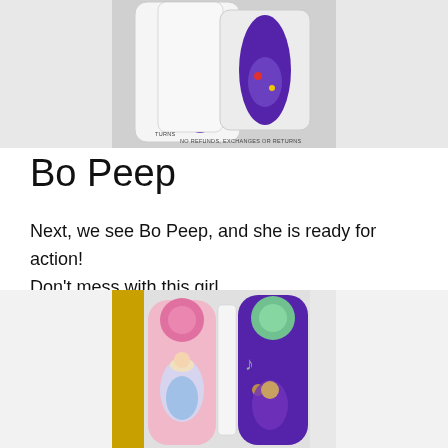[Figure (photo): Top portion of a Disney MagicBand product in packaging, showing a decorative oval band with colorful floral and character design on a white card, partially showing text 'NO REFUNDS, EXCHANGES OR RETURNS']
Bo Peep
Next, we see Bo Peep, and she is ready for action! Don't mess with this girl.
[Figure (photo): Photo of two Disney MagicBands side by side: left one is pink with a round pink button top and Bo Peep character artwork; right one is purple with a green button top and floral/character artwork, both on a white background with a gold/yellow background element.]